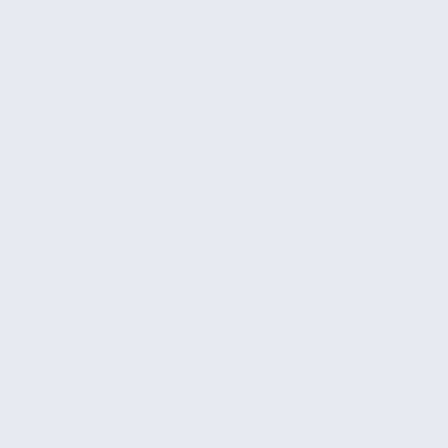If that isn't convincing, what is?
Source: While this is more or less common knowledge, the figures are from the wonderful book of Ashby and Jones
Thermoplasts are the (softish) polymers that get soft and more or less liquid if heated a little. Your plastic shopping bag, CD's, plastic containers, etc. are thermoplasts. Duroplasts will not get soft upon heating but begin to decompose. Epoxy is an example. Stretched fibers is what you use to tie your
Time to generalize. As you have seen, it is not too difficult to get a good idea of a particular property - Young's modulus - of a composite material if you know the properties of its constituents. It is also not to difficult too get an idea about other properties in this way - always provided that you can do some averag
Density (rather trivial)
Electrical conductivity (as long as all constituents are conducto
Index of refraction (as long as all constituents are transparent and small compared to the wavelength of the light)
Magnetic behavior (as long ... you don't want to know this)
However, you are going to run into limits rather quickly, too. The mixing rules work as long as you have "linear" relations, and that is quite often not the case. So it is not easily possible to calculate:
Plastic deformation and fracture
Electrical conductivity if one constituent is an isolator.
Index of refraction if the (transparent) constituents have different indices and the wave length.